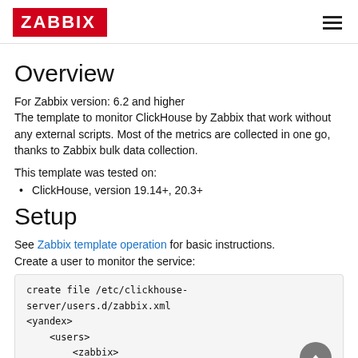ZABBIX
Overview
For Zabbix version: 6.2 and higher
The template to monitor ClickHouse by Zabbix that work without any external scripts. Most of the metrics are collected in one go, thanks to Zabbix bulk data collection.
This template was tested on:
ClickHouse, version 19.14+, 20.3+
Setup
See Zabbix template operation for basic instructions.
Create a user to monitor the service:
create file /etc/clickhouse-server/users.d/zabbix.xml
<yandex>
    <users>
        <zabbix>
            <password>zabbix_pass</password>